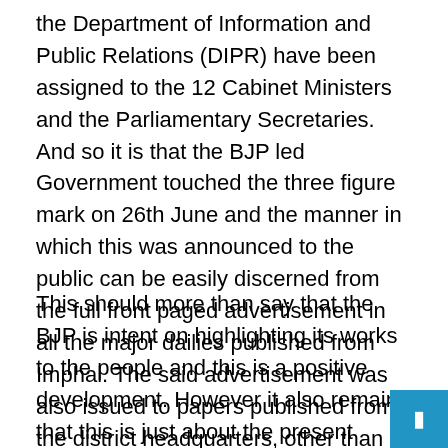the Department of Information and Public Relations (DIPR) have been assigned to the 12 Cabinet Ministers and the Parliamentary Secretaries. And so it is that the BJP led Government touched the three figure mark on 26th June and the manner in which this was announced to the public can be easily discerned from the full front paged advertisement in all the major dailies published from Imphal. The said advertisement was also issued to papers published from the district headquarters, other than Imphal.
This should more than say that the BJP is intent on highlighting its works to the people and this is a positive development. However it also remains that this is just about the present Government completing 100 days in office and the innings still has to go on for more than four more years. This is when the performance of the Government can be fully measured and weighed. What however stands is the point of being accountable in the right direction and this is...